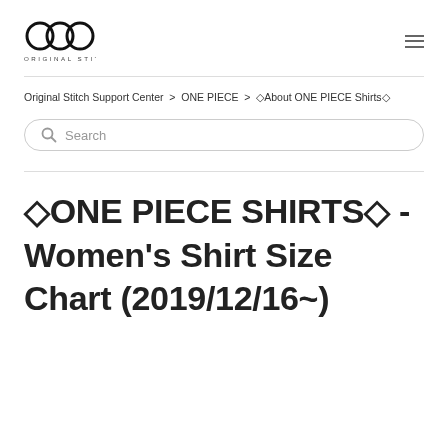ORIGINAL STITCH
Original Stitch Support Center > ONE PIECE > ◇About ONE PIECE Shirts◇
Search
◇ONE PIECE SHIRTS◇ - Women's Shirt Size Chart (2019/12/16~)